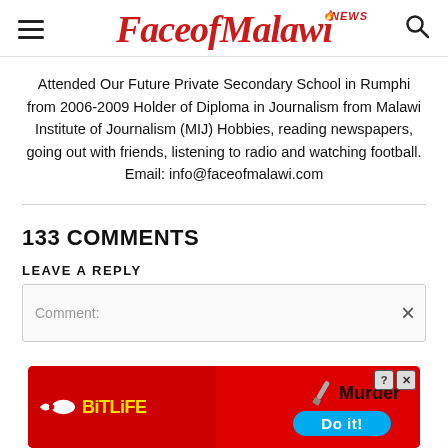FaceofMalawi NEWS
Attended Our Future Private Secondary School in Rumphi from 2006-2009 Holder of Diploma in Journalism from Malawi Institute of Journalism (MIJ) Hobbies, reading newspapers, going out with friends, listening to radio and watching football. Email: info@faceofmalawi.com
133 COMMENTS
LEAVE A REPLY
Comment:
[Figure (infographic): BitLife advertisement banner with red background, sperm logo, yellow BitLife text, knife graphic, Murder headline, Do it! button in blue]